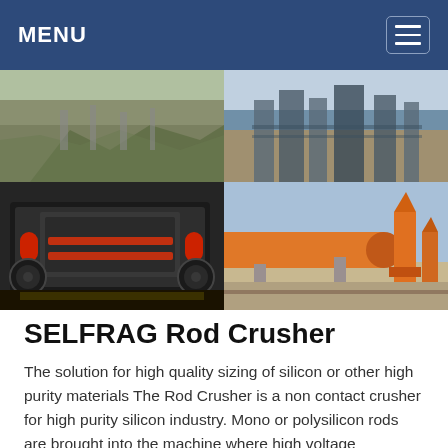MENU
[Figure (photo): Grid of four industrial/mining equipment photos: top-left shows a quarry/construction site excavation, top-right shows a large industrial processing plant with machinery, bottom-left shows a dark heavy-duty industrial crusher/mill machine with red accents, bottom-right shows large orange cylindrical rotary drum equipment outdoors.]
SELFRAG Rod Crusher
The solution for high quality sizing of silicon or other high purity materials The Rod Crusher is a non contact crusher for high purity silicon industry. Mono or polysilicon rods are brought into the machine where high voltage discharges cause shockwaves close to the material, fragmenting it